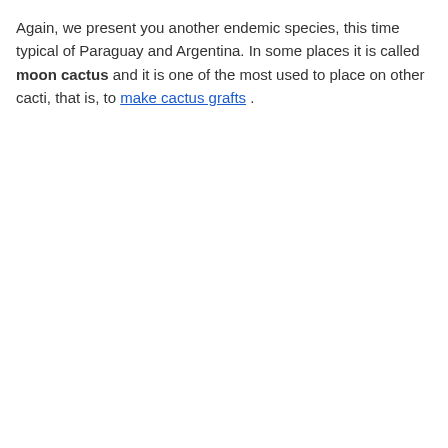Again, we present you another endemic species, this time typical of Paraguay and Argentina. In some places it is called moon cactus and it is one of the most used to place on other cacti, that is, to make cactus grafts .